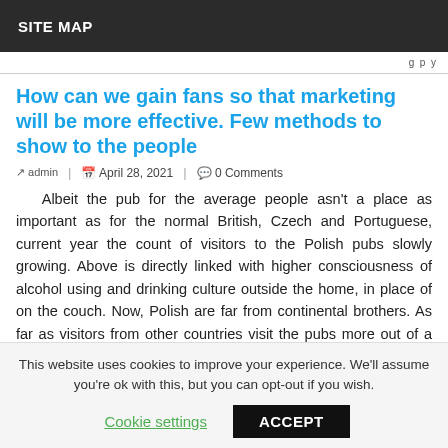SITE MAP
How can we gain fans so that marketing will be more effective. Few methods to show to the people
admin | April 28, 2021 | 0 Comments
Albeit the pub for the average people asn't a place as important as for the normal British, Czech and Portuguese, current year the count of visitors to the Polish pubs slowly growing. Above is directly linked with higher consciousness of alcohol using and drinking culture outside the home, in place of on the couch. Now, Polish are far from continental brothers. As far as visitors from other countries visit the pubs more out of a familia...
This website uses cookies to improve your experience. We'll assume you're ok with this, but you can opt-out if you wish.
Cookie settings    ACCEPT